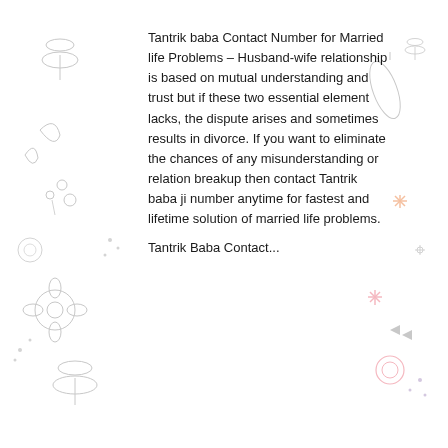[Figure (illustration): Decorative background with line-art illustrations of dragonflies, flowers, leaves, dots, and small nature motifs in light gray and pastel colors covering the left and right margins of the page.]
Tantrik baba Contact Number for Married life Problems – Husband-wife relationship is based on mutual understanding and trust but if these two essential element lacks, the dispute arises and sometimes results in divorce. If you want to eliminate the chances of any misunderstanding or relation breakup then contact Tantrik baba ji number anytime for fastest and lifetime solution of married life problems.
Tantrik Baba Contact...